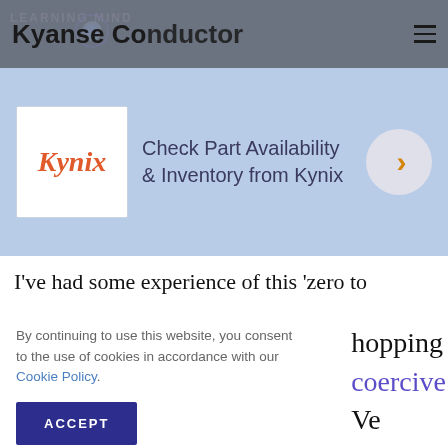Kyanse Conductor / Learning Mind
[Figure (infographic): Kynix advertisement banner: Check Part Availability & Inventory from Kynix]
I've had some experience of this 'zero to
hopping
coercive
Ve
t down.
ed at
ging in
By continuing to use this website, you consent to the use of cookies in accordance with our Cookie Policy.
ACCEPT